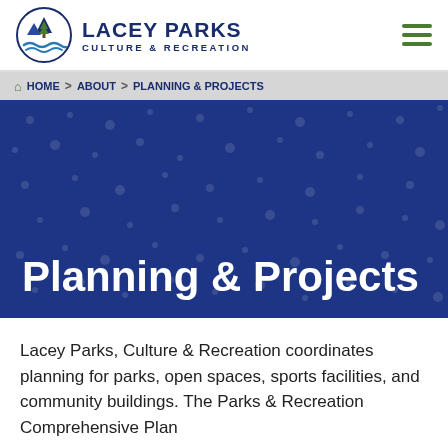Lacey Parks Culture & Recreation
HOME > ABOUT > PLANNING & PROJECTS
Planning & Projects
Lacey Parks, Culture & Recreation coordinates planning for parks, open spaces, sports facilities, and community buildings. The Parks & Recreation Comprehensive Plan